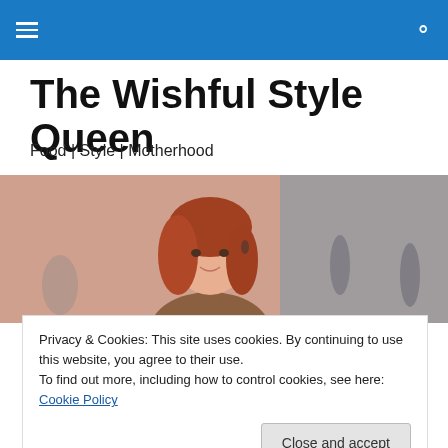Navigation bar with hamburger menu and search icon
The Wishful Style Queen
Food | Style | Motherhood
[Figure (photo): Portrait photo of a young woman with red/auburn hair, smiling, outdoors with blurred background]
Just another manic Monday
Privacy & Cookies: This site uses cookies. By continuing to use this website, you agree to their use.
To find out more, including how to control cookies, see here: Cookie Policy
Close and accept